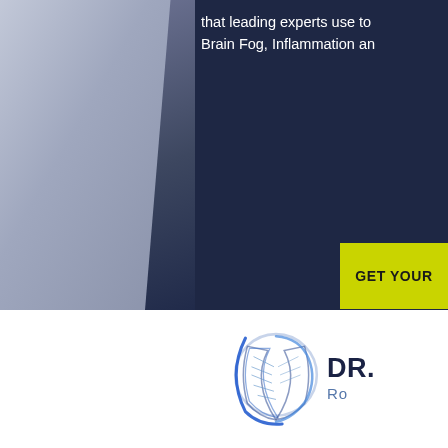that leading experts use to Brain Fog, Inflammation an
[Figure (other): A person in dark navy clothing photographed from the side/back, against a blurred background, with a dark navy overlay on the right portion]
GET YOUR
[Figure (logo): DR. [name] logo with a circular DNA/leaf strand icon in blue and navy, and text 'DR. [name]' with 'Ro' subtitle in blue]